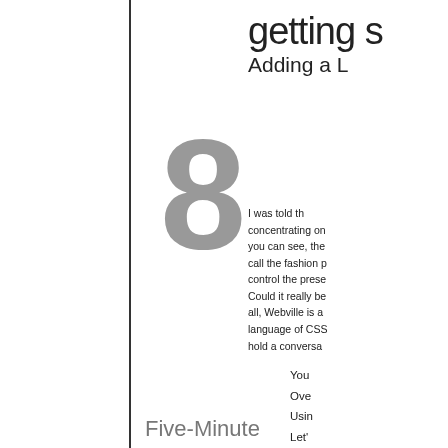getting s
Adding a L
[Figure (other): Large gray numeral 8 chapter number]
I was told th concentrating on you can see, the call the fashion p control the prese Could it really be all, Webville is a language of CSS hold a conversa
You
Ove
Usin
Let'
Spe
Get
Link
Five-Minute